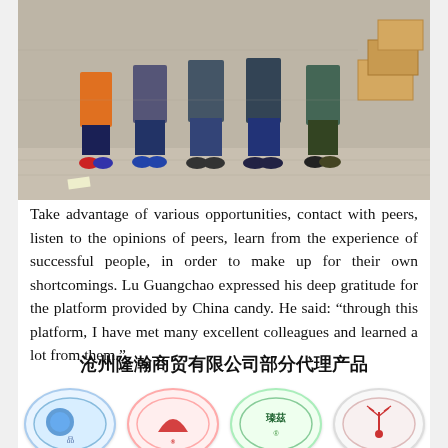[Figure (photo): Group photo of several people standing together outdoors, showing legs and feet, with boxes visible in background on a paved surface]
Take advantage of various opportunities, contact with peers, listen to the opinions of peers, learn from the experience of successful people, in order to make up for their own shortcomings. Lu Guangchao expressed his deep gratitude for the platform provided by China candy. He said: “through this platform, I have met many excellent colleagues and learned a lot from them.”
沧州隆瀨商贸有限公司部分代理产品
[Figure (logo): Four oval-shaped product logos for Cangzhou Longhan Trading Co. represented products]